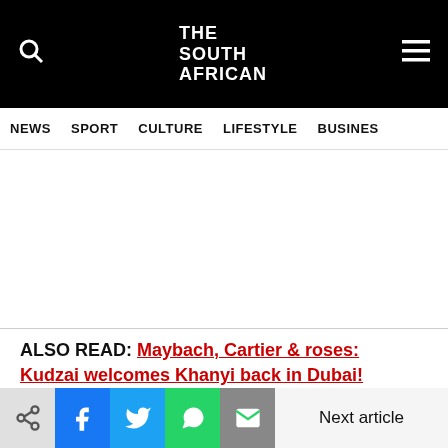THE SOUTH AFRICAN
NEWS   SPORT   CULTURE   LIFESTYLE   BUSINESS
[Figure (other): Advertisement area (blank white space)]
ALSO READ: Maybach, Cartier & roses: Kudzai welcomes Khanyi back in Dubai! [watch]
Next article